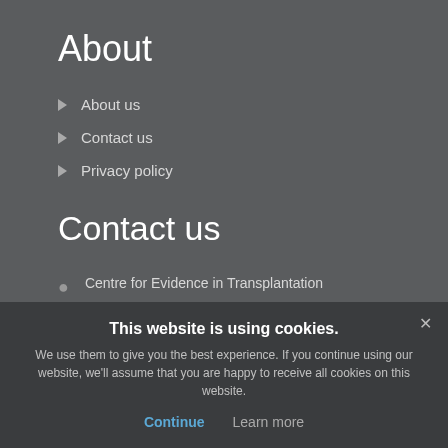About
About us
Contact us
Privacy policy
Contact us
Centre for Evidence in Transplantation
Nuffield Department of Surgical Sciences
University of Oxford
Oxford Transplant Centre, Churchill Hospital
Old Road
Oxford OX3 7LN
UK
This website is using cookies.
We use them to give you the best experience. If you continue using our website, we'll assume that you are happy to receive all cookies on this website.
Continue  Learn more